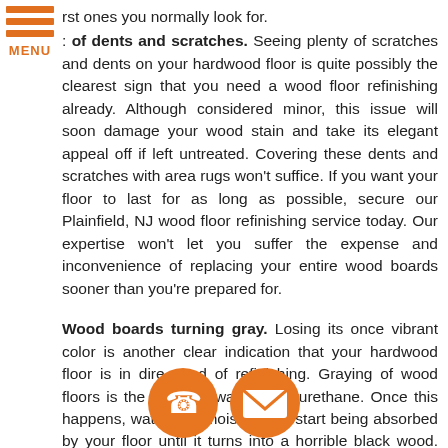[Figure (other): Orange hamburger menu icon with three horizontal bars and MENU label]
rst ones you normally look for.

: of dents and scratches. Seeing plenty of scratches and dents on your hardwood floor is quite possibly the clearest sign that you need a wood floor refinishing already. Although considered minor, this issue will soon damage your wood stain and take its elegant appeal off if left untreated. Covering these dents and scratches with area rugs won't suffice. If you want your floor to last for as long as possible, secure our Plainfield, NJ wood floor refinishing service today. Our expertise won't let you suffer the expense and inconvenience of replacing your entire wood boards sooner than you're prepared for.

Wood boards turning gray. Losing its once vibrant color is another clear indication that your hardwood floor is in dire need of refinishing. Graying of wood floors is the result of waning polyurethane. Once this happens, water and moisture will start being absorbed by your floor until it turns into a horrible black wood. Before it reaches the point where wood floor refinishing won't be enough, take your
[Figure (other): Orange phone icon circle button]
[Figure (other): Orange email/envelope icon circle button]